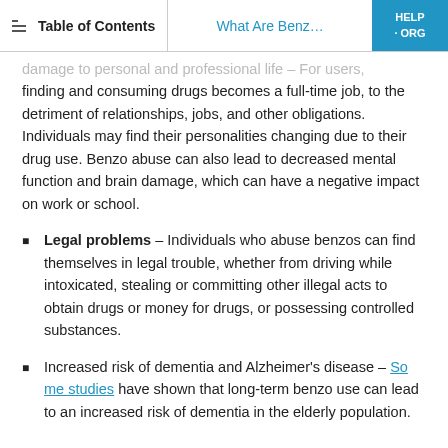Table of Contents | What Are Benz... | HELP·ORG
damage to personal and professional life – For users, finding and consuming drugs becomes a full-time job, to the detriment of relationships, jobs, and other obligations. Individuals may find their personalities changing due to their drug use. Benzo abuse can also lead to decreased mental function and brain damage, which can have a negative impact on work or school.
Legal problems – Individuals who abuse benzos can find themselves in legal trouble, whether from driving while intoxicated, stealing or committing other illegal acts to obtain drugs or money for drugs, or possessing controlled substances.
Increased risk of dementia and Alzheimer's disease – Some studies have shown that long-term benzo use can lead to an increased risk of dementia in the elderly population.